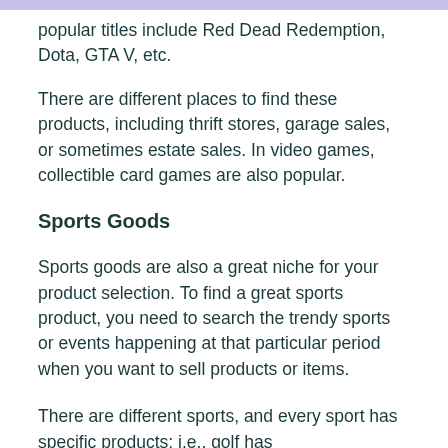popular titles include Red Dead Redemption, Dota, GTA V, etc.
There are different places to find these products, including thrift stores, garage sales, or sometimes estate sales. In video games, collectible card games are also popular.
Sports Goods
Sports goods are also a great niche for your product selection. To find a great sports product, you need to search the trendy sports or events happening at that particular period when you want to sell products or items.
There are different sports, and every sport has specific products; i.e., golf has